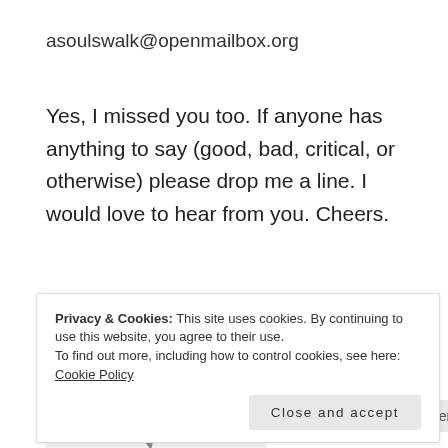asoulswalk@openmailbox.org
Yes, I missed you too. If anyone has anything to say (good, bad, critical, or otherwise) please drop me a line. I would love to hear from you. Cheers.
Comment
Wednesday, October 23rd, 2013
Contact
FYI
I Missed You Too
Update
Privacy & Cookies: This site uses cookies. By continuing to use this website, you agree to their use. To find out more, including how to control cookies, see here: Cookie Policy
Close and accept